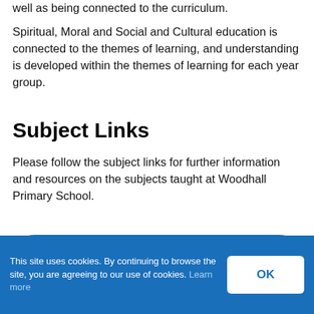well as being connected to the curriculum.
Spiritual, Moral and Social and Cultural education is connected to the themes of learning, and understanding is developed within the themes of learning for each year group.
Subject Links
Please follow the subject links for further information and resources on the subjects taught at Woodhall Primary School.
Art & Design
This site uses cookies. By continuing to browse the site, you are agreeing to our use of cookies. Learn more  OK